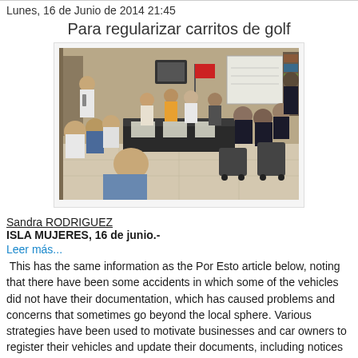Lunes, 16 de Junio de 2014 21:45
Para regularizar carritos de golf
[Figure (photo): Meeting room with people seated around a desk, appearing to be an official or government meeting. Several individuals in casual and official attire are visible, with a red flag in the background.]
Sandra RODRIGUEZ
ISLA MUJERES, 16 de junio.-
Leer más...
This has the same information as the Por Esto article below, noting that there have been some accidents in which some of the vehicles did not have their documentation, which has caused problems and concerns that sometimes go beyond the local sphere. Various strategies have been used to motivate businesses and car owners to register their vehicles and update their documents, including notices in the taxis to motivate people. The traffic laws require that